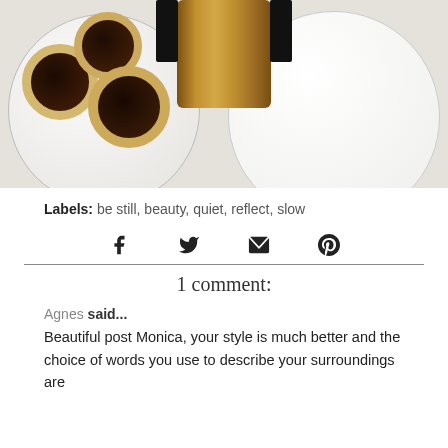[Figure (photo): Photo of chocolate-filled cookies on a white plate, with a wooden rolling pin handle visible at the top, and a second empty white plate in the background]
Labels: be still, beauty, quiet, reflect, slow
[Figure (infographic): Social share icons: Facebook, Twitter, Email, Pinterest]
1 comment:
Agnes said... Beautiful post Monica, your style is much better and the choice of words you use to describe your surroundings are